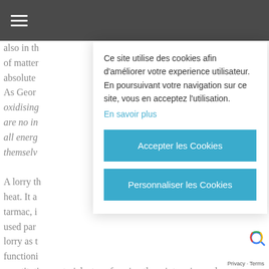≡
also in th
of matter
absolute
As Geor
oxidising
are no in
all energ
themselv

A lorry th
heat. It a
tarmac, i
used par
lorry as t
functioni
constituting materials, transforming them into minuscule and
Ce site utilise des cookies afin d'améliorer votre experience utilisateur. En poursuivant votre navigation sur ce site, vous en acceptez l'utilisation.
En savoir plus
Accepter les Cookies
Personnaliser les Cookies
Privacy · Terms